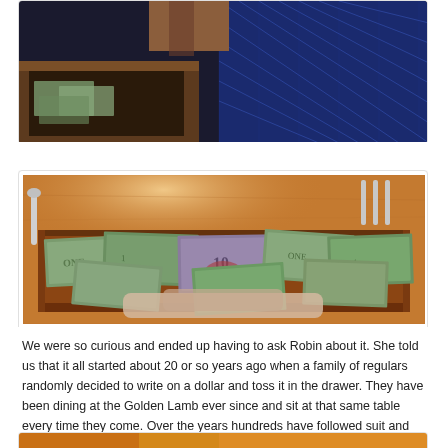[Figure (photo): Partial view of a dark scene with blue illumination and a wooden drawer, partially cropped at the top of the page]
[Figure (photo): Close-up photo of an open wooden table drawer filled with various paper currency bills including dollar bills and a visible $10 bill, viewed from above at an angle]
We were so curious and ended up having to ask Robin about it. She told us that it all started about 20 or so years ago when a family of regulars randomly decided to write on a dollar and toss it in the drawer. They have been dining at the Golden Lamb ever since and sit at that same table every time they come. Over the years hundreds have followed suit and have left a memento of their night at the GLB. We felt honored to have been seated at that table and were so happy one of us had the curiosity to look inside the drawers.
[Figure (photo): Partial photo visible at the bottom of the page, cropped]